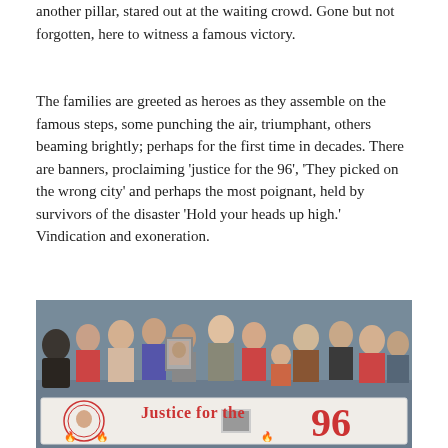another pillar, stared out at the waiting crowd. Gone but not forgotten, here to witness a famous victory.
The families are greeted as heroes as they assemble on the famous steps, some punching the air, triumphant, others beaming brightly; perhaps for the first time in decades. There are banners, proclaiming 'justice for the 96', 'They picked on the wrong city' and perhaps the most poignant, held by survivors of the disaster 'Hold your heads up high.' Vindication and exoneration.
[Figure (photo): A crowd of people gathered on steps holding a large banner reading 'Justice for the 96'. People of various ages are visible, some holding framed photographs. The banner features the text in large red letters with the number 96 prominently displayed.]